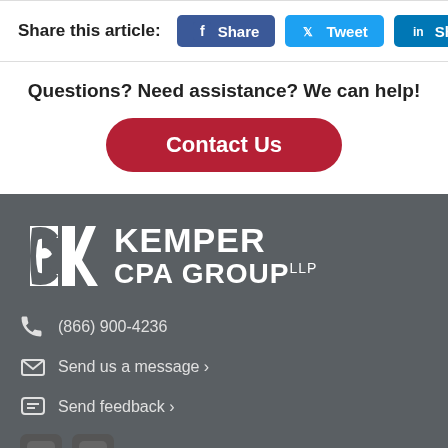Share this article:
Share | Tweet | Share
Questions? Need assistance? We can help!
Contact Us
[Figure (logo): Kemper CPA Group LLP logo with stylized CK emblem in white on dark background]
(866) 900-4236
Send us a message ›
Send feedback ›